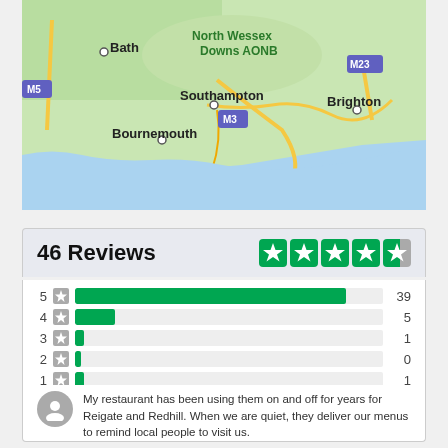[Figure (map): Google Maps view showing southern England including Bath, Southampton, Bournemouth, Brighton, North Wessex Downs AONB, and motorway labels M5, M3, M23.]
46 Reviews
[Figure (infographic): Trustpilot-style 4.5 star rating shown as 4 full green star boxes and 1 half green/grey star box]
[Figure (bar-chart): Review distribution by star rating]
My restaurant has been using them on and off for years for Reigate and Redhill. When we are quiet, they deliver our menus to remind local people to visit us.